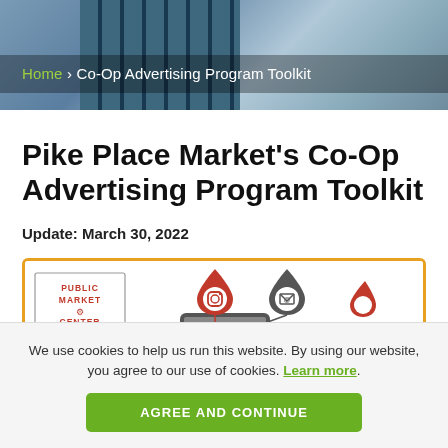[Figure (photo): Header photo showing building exterior with glass windows and dark structural elements]
Home › Co-Op Advertising Program Toolkit
Pike Place Market's Co-Op Advertising Program Toolkit
Update: March 30, 2022
[Figure (infographic): Infographic with orange border showing Pike Place Market Public Market Center logo on the left, and social media / communication icons (Instagram, email) shown as location pin markers rising from a smartphone in the center]
We use cookies to help us run this website. By using our website, you agree to our use of cookies. Learn more.
AGREE AND CONTINUE